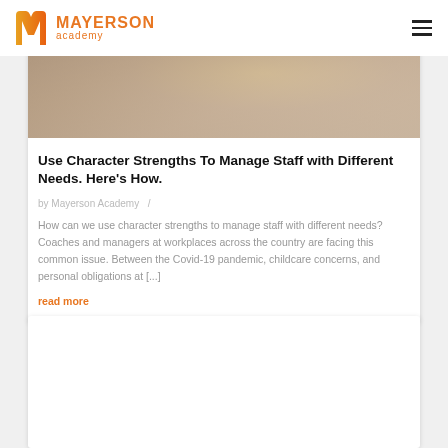MAYERSON academy
[Figure (photo): Partial photo showing a person, warm tones, faded/cropped at top of card]
Use Character Strengths To Manage Staff with Different Needs. Here's How.
by Mayerson Academy /
How can we use character strengths to manage staff with different needs? Coaches and managers at workplaces across the country are facing this common issue. Between the Covid-19 pandemic, childcare concerns, and personal obligations at [...]
read more